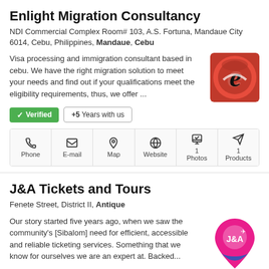Enlight Migration Consultancy
NDI Commercial Complex Room# 103, A.S. Fortuna, Mandaue City 6014, Cebu, Philippines, Mandaue, Cebu
Visa processing and immigration consultant based in cebu. We have the right migration solution to meet your needs and find out if your qualifications meet the eligibility requirements, thus, we offer ...
✓ Verified   +5 Years with us
Phone  E-mail  Map  Website  Photos 1  Products 1
J&A Tickets and Tours
Fenete Street, District II, Antique
Our story started five years ago, when we saw the community's [Sibalom] need for efficient, accessible and reliable ticketing services. Something that we know for ourselves we are an expert at. Backed...
✓ Verified